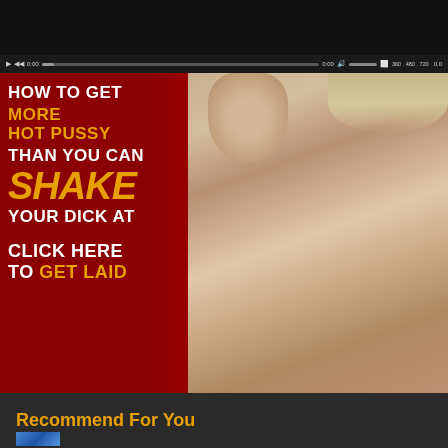[Figure (screenshot): Video player screenshot showing an adult advertisement with text overlay on red background and photo of a woman. Controls bar shows 0:00 timestamp and 360/480/720 quality options.]
HOW TO GET MORE HOT PUSSY THAN YOU CAN SHAKE YOUR DICK AT CLICK HERE TO GET LAID
Recommend For You